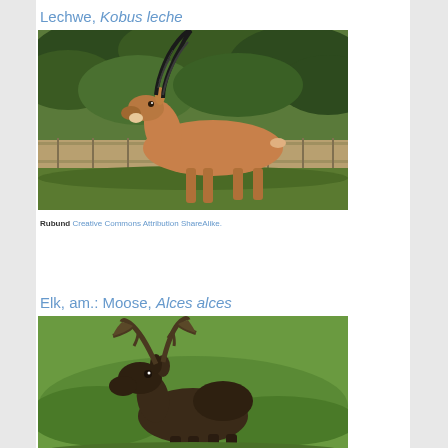Lechwe, Kobus leche
[Figure (photo): Photo of a Lechwe antelope (Kobus leche) with long curved horns, reddish-brown coat, standing in profile facing left, with green trees and a wooden fence in the background.]
Rubund Creative Commons Attribution ShareAlike.
Elk, am.: Moose, Alces alces
[Figure (photo): Photo of a moose (Alces alces) with large flat antlers, dark brown coat, standing in a green grassy field, facing the camera.]